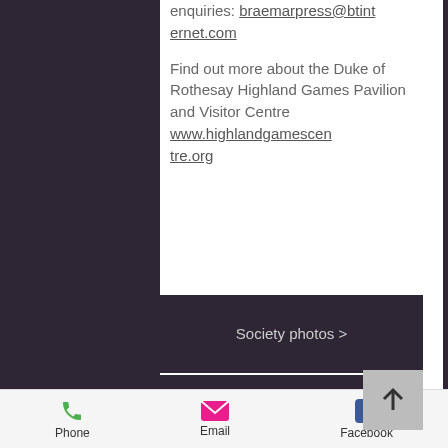enquiries: braemarpress@btinternet.com
Find out more about the Duke of Rothesay Highland Games Pavilion and Visitor Centre www.highlandgamescentre.org
Society photos >
Society the early years >
Society timeline >
Phone   Email   Facebook